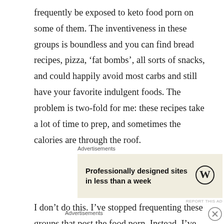frequently be exposed to keto food porn on some of them. The inventiveness in these groups is boundless and you can find bread recipes, pizza, ‘fat bombs’, all sorts of snacks, and could happily avoid most carbs and still have your favorite indulgent foods. The problem is two-fold for me: these recipes take a lot of time to prep, and sometimes the calories are through the roof.
Advertisements
[Figure (screenshot): WordPress advertisement: Professionally designed sites in less than a week, with WordPress logo]
REPORT THIS AD
I don’t do this. I’ve stopped frequenting these groups that post the food porn. Instead, I’ve chosen to follow a
Advertisements